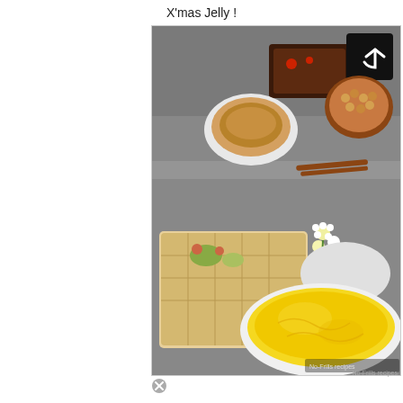X'mas Jelly !
[Figure (photo): Photo of a dessert buffet table showing various pastries and cakes including a decorated layered cake, a tart on a plate, a chocolate dessert with strawberries, a round pastry filled with small round items, and a prominent oval dish filled with bright yellow jelly in the foreground. White daisy flowers are visible on the table. A share icon appears in a black box at top right. Watermark reads 'No-Frills recipes'.]
No-Frills recipes